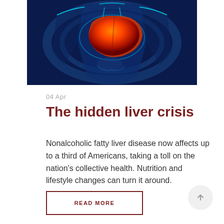[Figure (photo): Medical illustration of a human liver highlighted in orange and red tones against a blue glowing body silhouette background]
04 Apr
The hidden liver crisis
Nonalcoholic fatty liver disease now affects up to a third of Americans, taking a toll on the nation's collective health. Nutrition and lifestyle changes can turn it around.
READ MORE